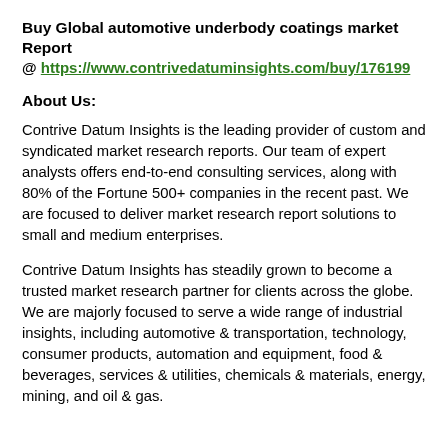Buy Global automotive underbody coatings market Report @ https://www.contrivedatuminsights.com/buy/176199
About Us:
Contrive Datum Insights is the leading provider of custom and syndicated market research reports. Our team of expert analysts offers end-to-end consulting services, along with 80% of the Fortune 500+ companies in the recent past. We are focused to deliver market research report solutions to small and medium enterprises.
Contrive Datum Insights has steadily grown to become a trusted market research partner for clients across the globe. We are majorly focused to serve a wide range of industrial insights, including automotive & transportation, technology, consumer products, automation and equipment, food & beverages, services & utilities, chemicals & materials, energy, mining, and oil & gas.